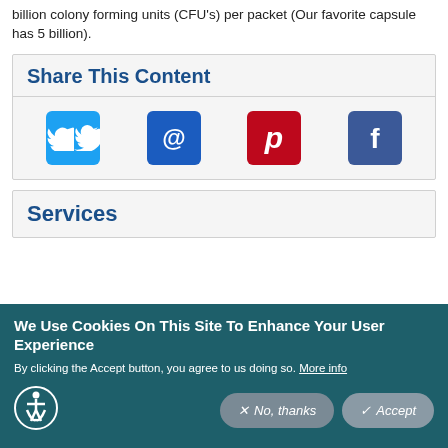billion colony forming units (CFU's) per packet (Our favorite capsule has 5 billion).
Share This Content
[Figure (infographic): Four social sharing icons: Twitter (blue bird), Email (blue @ symbol), Pinterest (red P symbol), Facebook (dark blue F symbol)]
Services
We Use Cookies On This Site To Enhance Your User Experience
By clicking the Accept button, you agree to us doing so. More info
No, thanks | Accept